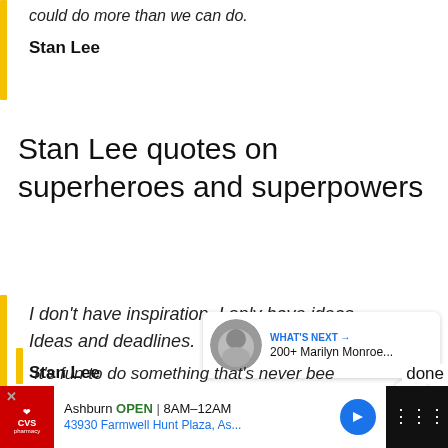could do more than we can do.
Stan Lee
Stan Lee quotes on superheroes and superpowers
I don't have inspiration. I only have ideas. Ideas and deadlines.
Stan Lee
[Figure (other): Circular blue heart icon button]
[Figure (other): Circular share icon button]
[Figure (other): What's Next card with Marilyn Monroe thumbnail]
WHAT'S NEXT → 200+ Marilyn Monroe...
[Figure (other): CVS Pharmacy advertisement banner: Ashburn OPEN 8AM-12AM, 43930 Farmwell Hunt Plaza, As...]
done